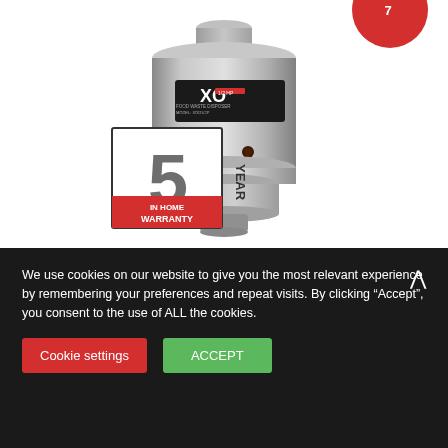[Figure (photo): XO garbage disposal unit (silver/chrome cylindrical appliance) with a '5 Year In Home Warranty' badge overlaid on the lower left, and a partial red circular badge/sticker visible at the top right corner. The product label on the unit reads 'XO' with additional model information.]
We use cookies on our website to give you the most relevant experience by remembering your preferences and repeat visits. By clicking “Accept”, you consent to the use of ALL the cookies.
Cookie settings
ACCEPT